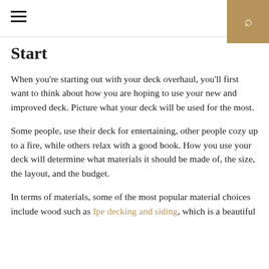≡ [search]
Start
When you're starting out with your deck overhaul, you'll first want to think about how you are hoping to use your new and improved deck. Picture what your deck will be used for the most.
Some people, use their deck for entertaining, other people cozy up to a fire, while others relax with a good book. How you use your deck will determine what materials it should be made of, the size, the layout, and the budget.
In terms of materials, some of the most popular material choices include wood such as Ipe decking and siding, which is a beautiful